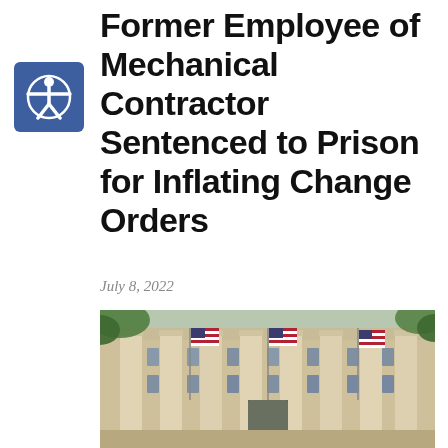[Figure (logo): Accessibility icon — white person with arms outstretched in a circle on a blue square background]
Former Employee of Mechanical Contractor Sentenced to Prison for Inflating Change Orders
July 8, 2022
[Figure (photo): Photograph of a large neoclassical government building with tall stone columns and American flags displayed between the columns, viewed from a low angle looking upward.]